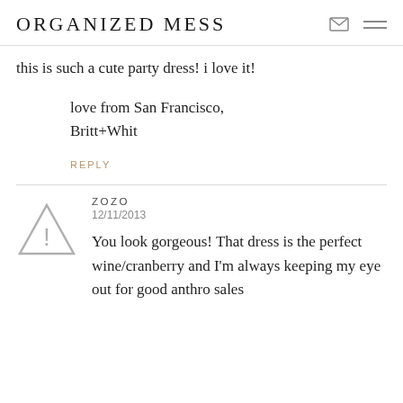ORGANIZED MESS
this is such a cute party dress! i love it!
love from San Francisco,
Britt+Whit
REPLY
zozo
12/11/2013
You look gorgeous! That dress is the perfect wine/cranberry and I'm always keeping my eye out for good anthro sales